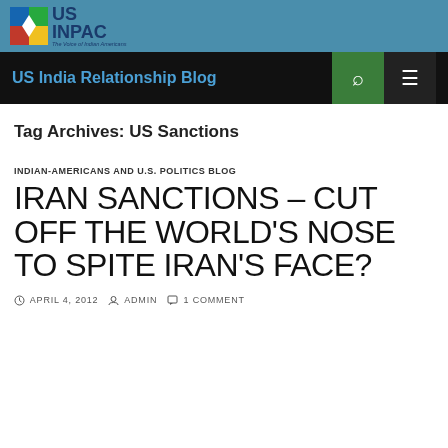[Figure (logo): US INPAC logo with colorful icon and text 'The Voice of Indian Americans']
US India Relationship Blog
Tag Archives: US Sanctions
INDIAN-AMERICANS AND U.S. POLITICS BLOG
IRAN SANCTIONS – CUT OFF THE WORLD'S NOSE TO SPITE IRAN'S FACE?
APRIL 4, 2012  ADMIN  1 COMMENT